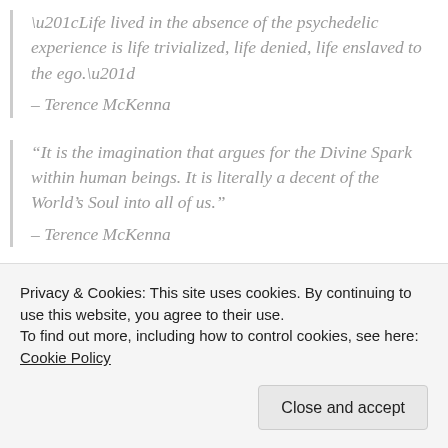“Life lived in the absence of the psychedelic experience is life trivialized, life denied, life enslaved to the ego.” – Terence McKenna
“It is the imagination that argues for the Divine Spark within human beings. It is literally a decent of the World’s Soul into all of us.” – Terence McKenna
“The real tension is not between matter and spirit, or time and space, the real tension is
Privacy & Cookies: This site uses cookies. By continuing to use this website, you agree to their use.
To find out more, including how to control cookies, see here: Cookie Policy